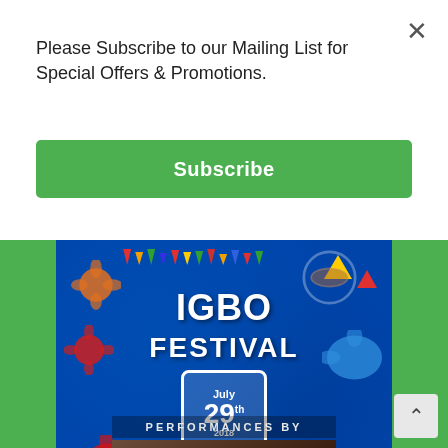Please Subscribe to our Mailing List for Special Offers & Promotions.
[Figure (illustration): Green Subscribe button]
[Figure (photo): Igbo Festival at Groove Events Centre 2018 promotional poster showing IGBO FESTIVAL text, July 29th date badge, colorful paint splashes, triangular bunting flags, and performers photo strip at bottom with Kumo Awe text]
Igbo Festival at Groove Events Centre 2018